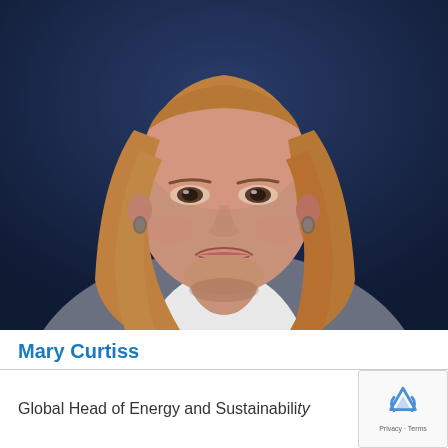[Figure (photo): Professional headshot of Mary Curtiss, a woman with shoulder-length blonde/auburn hair, smiling, wearing a white shirt and grey blazer, against a dark navy background.]
Mary Curtiss
Global Head of Energy and Sustainability